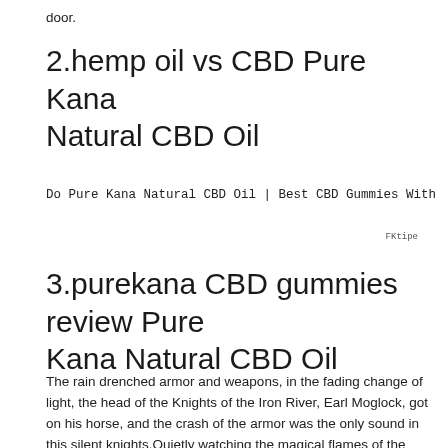door.
2.hemp oil vs CBD Pure Kana Natural CBD Oil
Do Pure Kana Natural CBD Oil | Best CBD Gummies With
FKtipe
3.purekana CBD gummies review Pure Kana Natural CBD Oil
The rain drenched armor and weapons, in the fading change of light, the head of the Knights of the Iron River, Earl Moglock, got on his horse, and the crash of the armor was the only sound in this silent knights.Quietly watching the magical flames of the distant sky spread out among the clouds, Count Moglock slowly raised his lance